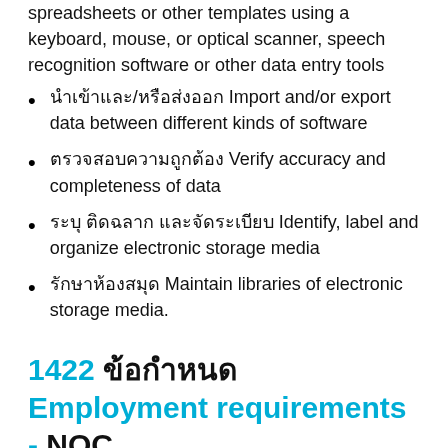spreadsheets or other templates using a keyboard, mouse, or optical scanner, speech recognition software or other data entry tools
นำเข้าและ/หรือส่งออก Import and/or export data between different kinds of software
ตรวจสอบความถูกต้อง Verify accuracy and completeness of data
ระบุ ติดฉลาก และจัดระเบียบ Identify, label and organize electronic storage media
รักษาห้องสมุด Maintain libraries of electronic storage media.
1422 ข้อกำหนด Employment requirements - NOC